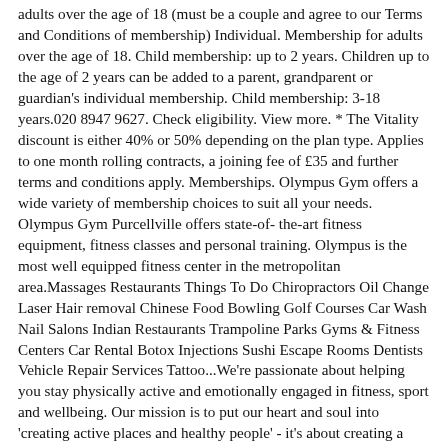adults over the age of 18 (must be a couple and agree to our Terms and Conditions of membership) Individual. Membership for adults over the age of 18. Child membership: up to 2 years. Children up to the age of 2 years can be added to a parent, grandparent or guardian's individual membership. Child membership: 3-18 years.020 8947 9627. Check eligibility. View more. * The Vitality discount is either 40% or 50% depending on the plan type. Applies to one month rolling contracts, a joining fee of £35 and further terms and conditions apply. Memberships. Olympus Gym offers a wide variety of membership choices to suit all your needs. Olympus Gym Purcellville offers state-of- the-art fitness equipment, fitness classes and personal training. Olympus is the most well equipped fitness center in the metropolitan area.Massages Restaurants Things To Do Chiropractors Oil Change Laser Hair removal Chinese Food Bowling Golf Courses Car Wash Nail Salons Indian Restaurants Trampoline Parks Gyms & Fitness Centers Car Rental Botox Injections Sushi Escape Rooms Dentists Vehicle Repair Services Tattoo...We're passionate about helping you stay physically active and emotionally engaged in fitness, sport and wellbeing. Our mission is to put our heart and soul into 'creating active places and healthy people' - it's about creating a place for everyone. Email us: enquiries@tolworthrecreationcentre.co.uk. Kevin Burnham, General Manager. 020 ...Membership Benefits. Health & Wellness For All. Be a part of something bigger. Ongoing family programming including Family Fun Gym Time with an inflatable